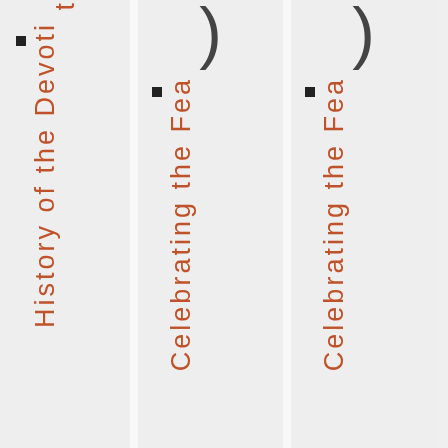History of the Devoti...
Celebrating the Fea...
Celebrating the Fea...